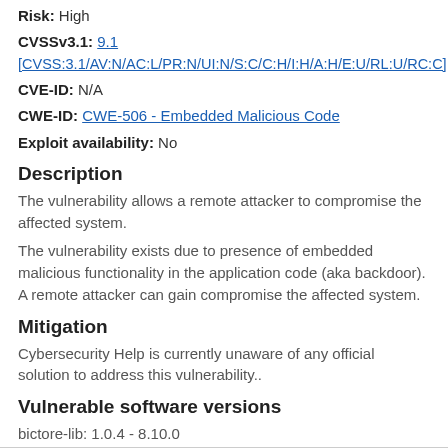Risk: High
CVSSv3.1: 9.1 [CVSS:3.1/AV:N/AC:L/PR:N/UI:N/S:C/C:H/I:H/A:H/E:U/RL:U/RC:C]
CVE-ID: N/A
CWE-ID: CWE-506 - Embedded Malicious Code
Exploit availability: No
Description
The vulnerability allows a remote attacker to compromise the affected system.
The vulnerability exists due to presence of embedded malicious functionality in the application code (aka backdoor). A remote attacker can gain compromise the affected system.
Mitigation
Cybersecurity Help is currently unaware of any official solution to address this vulnerability..
Vulnerable software versions
bictore-lib: 1.0.4 - 8.10.0